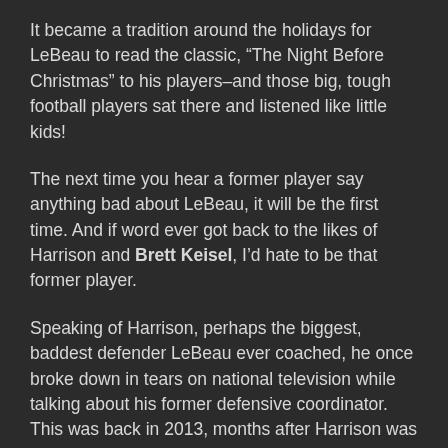It became a tradition around the holidays for LeBeau to read the classic, “The Night Before Christmas” to his players–and those big, tough football players sat there and listened like little kids!
The next time you hear a former player say anything bad about LeBeau, it will be the first time. And if word ever got back to the likes of Harrison and Brett Keisel, I’d hate to be that former player.
Speaking of Harrison, perhaps the biggest, baddest defender LeBeau ever coached, he once broke down in tears on national television while talking about his former defensive coordinator. This was back in 2013, months after Harrison was released by Pittsburgh and then signed with the Bengals. No player ever forgets LeBeau, the man they affectionately called Coach Dad during his second stay in Pittsburgh.
In the lead up to the 2005 regular season finale against